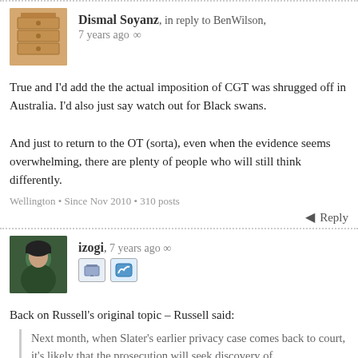Dismal Soyanz, in reply to BenWilson, 7 years ago
True and I'd add the the actual imposition of CGT was shrugged off in Australia. I'd also just say watch out for Black swans.

And just to return to the OT (sorta), even when the evidence seems overwhelming, there are plenty of people who will still think differently.
Wellington • Since Nov 2010 • 310 posts
Reply
izogi, 7 years ago
Back on Russell's original topic – Russell said:
Next month, when Slater's earlier privacy case comes back to court, it's likely that the prosecution will seek discovery of